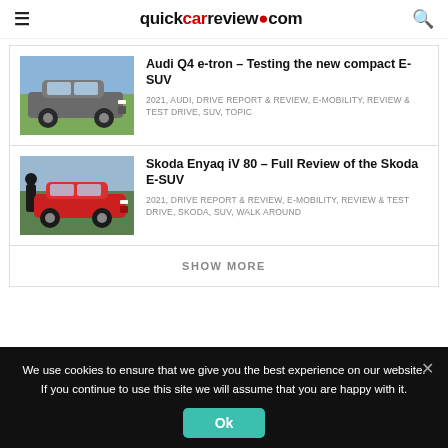quickcarreview.com
Audi Q4 e-tron – Testing the new compact E-SUV
2021, AUDI, DRIVE REPORT & REVIEW, E-MOBILITY, REVIEW & TEST DRIVE, SUV, TOPIC
[Figure (photo): Grey Audi Q4 e-tron SUV photographed from front-side angle in green field setting]
Skoda Enyaq iV 80 – Full Review of the Skoda E-SUV
2021, DRIVE REPORT & REVIEW, E-MOBILITY, REVIEW & TEST DRIVE, SKODA, SUV, WALK AROUND
[Figure (photo): Red Skoda Enyaq iV 80 SUV with person standing beside it in outdoor setting]
SHOW MORE
We use cookies to ensure that we give you the best experience on our website. If you continue to use this site we will assume that you are happy with it.